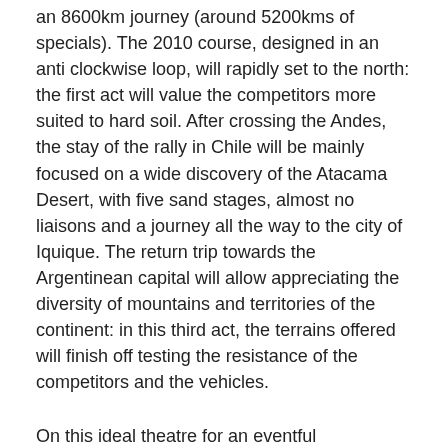an 8600km journey (around 5200kms of specials). The 2010 course, designed in an anti clockwise loop, will rapidly set to the north: the first act will value the competitors more suited to hard soil. After crossing the Andes, the stay of the rally in Chile will be mainly focused on a wide discovery of the Atacama Desert, with five sand stages, almost no liaisons and a journey all the way to the city of Iquique. The return trip towards the Argentinean capital will allow appreciating the diversity of mountains and territories of the continent: in this third act, the terrains offered will finish off testing the resistance of the competitors and the vehicles.
On this ideal theatre for an eventful confrontation, the new regulations set up will contribute in putting talent forward. In the car race, the augmentation of the air intake flage for the petrol vehicles will normally give the best amateurs the means to compete with the diesel technology that has had better